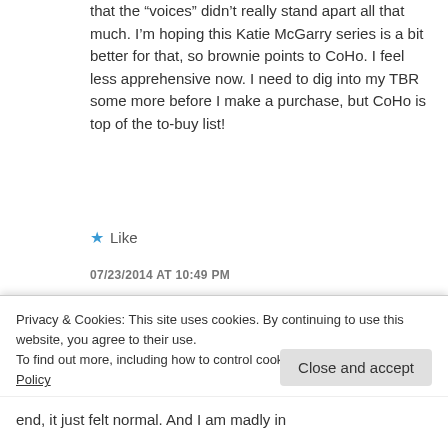that the “voices” didn’t really stand apart all that much. I’m hoping this Katie McGarry series is a bit better for that, so brownie points to CoHo. I feel less apprehensive now. I need to dig into my TBR some more before I make a purchase, but CoHo is top of the to-buy list!
★ Like
07/23/2014 AT 10:49 PM
[Figure (photo): User avatar photo - circular profile picture]
Quinn @ Quinn’s Book Nook
Privacy & Cookies: This site uses cookies. By continuing to use this website, you agree to their use.
To find out more, including how to control cookies, see here: Our Cookie Policy
Close and accept
end, it just felt normal. And I am madly in